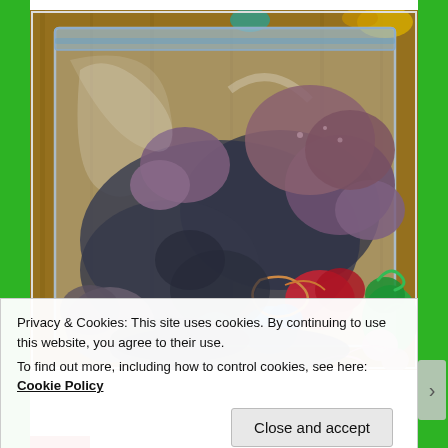[Figure (photo): A clear zip-lock plastic bag filled with many small balls and skeins of colorful yarn in various colors including blue, green, red, pink, purple, brown, and gray, placed on a wooden surface.]
Privacy & Cookies: This site uses cookies. By continuing to use this website, you agree to their use.
To find out more, including how to control cookies, see here: Cookie Policy
Close and accept